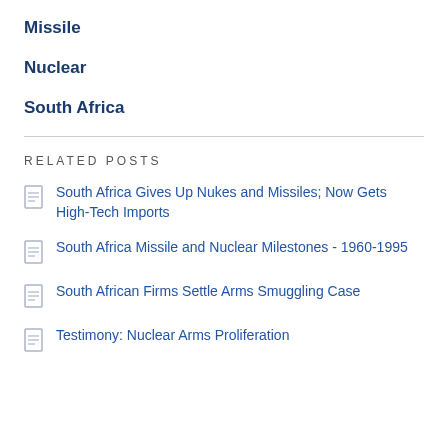Missile
Nuclear
South Africa
RELATED POSTS
South Africa Gives Up Nukes and Missiles; Now Gets High-Tech Imports
South Africa Missile and Nuclear Milestones - 1960-1995
South African Firms Settle Arms Smuggling Case
Testimony: Nuclear Arms Proliferation